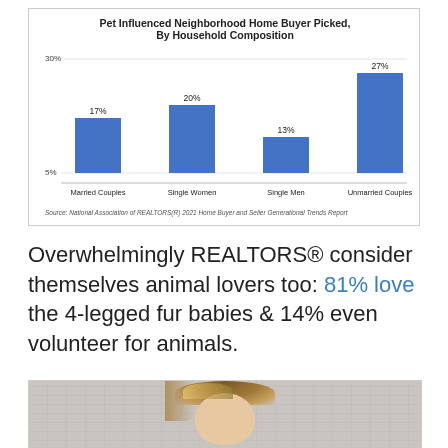[Figure (bar-chart): Pet Influenced Neighborhood Home Buyer Picked, By Household Composition]
Overwhelmingly REALTORS® consider themselves animal lovers too: 81% love the 4-legged fur babies & 14% even volunteer for animals.
[Figure (photo): Photo of a person (likely a REALTOR) in front of a brick wall background, partially cropped]